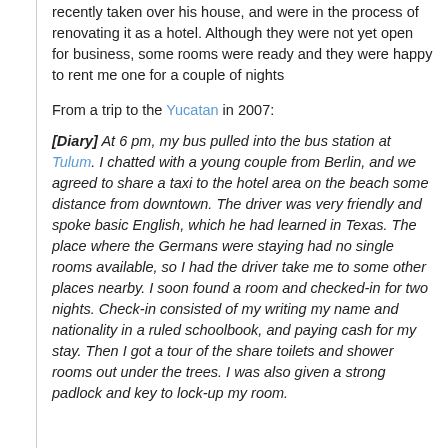recently taken over his house, and were in the process of renovating it as a hotel. Although they were not yet open for business, some rooms were ready and they were happy to rent me one for a couple of nights
From a trip to the Yucatan in 2007:
[Diary] At 6 pm, my bus pulled into the bus station at Tulum. I chatted with a young couple from Berlin, and we agreed to share a taxi to the hotel area on the beach some distance from downtown. The driver was very friendly and spoke basic English, which he had learned in Texas. The place where the Germans were staying had no single rooms available, so I had the driver take me to some other places nearby. I soon found a room and checked-in for two nights. Check-in consisted of my writing my name and nationality in a ruled schoolbook, and paying cash for my stay. Then I got a tour of the share toilets and shower rooms out under the trees. I was also given a strong padlock and key to lock-up my room.